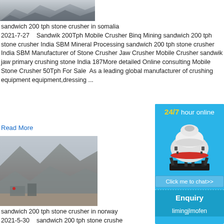[Figure (photo): Aerial/ground view of stone crusher operation with gravel/rock piles]
sandwich 200 tph stone crusher in somalia
2021-7-27   Sandwik 200Tph Mobile Crusher Binq Mining sandwich 200 tph stone crusher India SBM Mineral Processing sandwich 200 tph stone crusher India SBM Manufacturer of Stone Crusher Jaw Crusher Mobile Crusher sandwik jaw primary crushing stone India 187More detailed Online consulting Mobile Stone Crusher 50Tph For Sale  As a leading global manufacturer of crushing equipment equipment,dressing ...
Read More
[Figure (photo): Mountain quarry with construction/crushing equipment and rocky terrain]
[Figure (other): Sidebar chat widget with 24/7 hour online text, cone crusher image, Click me to chat>> button, Enquiry section, and limingjlmofen text]
sandwich 200 tph stone crusher in norway
2021-5-30   sandwich 200 tph stone crushe...